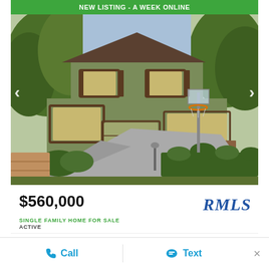[Figure (photo): Exterior photo of a two-story green single-family home with basketball hoop, large driveway, and hedges. Green banner at top reads 'NEW LISTING - A WEEK ONLINE'. Left and right navigation arrows visible.]
$560,000
[Figure (logo): RMLS logo in blue italic text]
SINGLE FAMILY HOME FOR SALE
ACTIVE
4 BEDS | 3 TOTAL BATHS | 1,400 SQFT
Call
Text